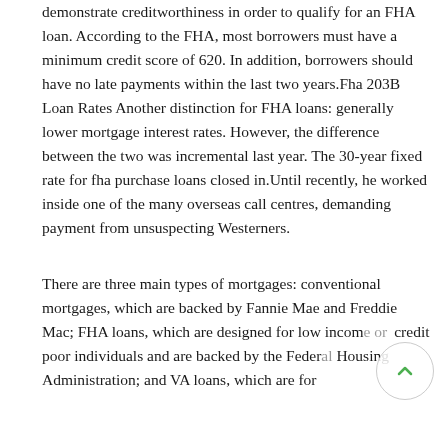demonstrate creditworthiness in order to qualify for an FHA loan. According to the FHA, most borrowers must have a minimum credit score of 620. In addition, borrowers should have no late payments within the last two years.Fha 203B Loan Rates Another distinction for FHA loans: generally lower mortgage interest rates. However, the difference between the two was incremental last year. The 30-year fixed rate for fha purchase loans closed in.Until recently, he worked inside one of the many overseas call centres, demanding payment from unsuspecting Westerners.
There are three main types of mortgages: conventional mortgages, which are backed by Fannie Mae and Freddie Mac; FHA loans, which are designed for low income or credit poor individuals and are backed by the Federal Housing Administration; and VA loans, which are for